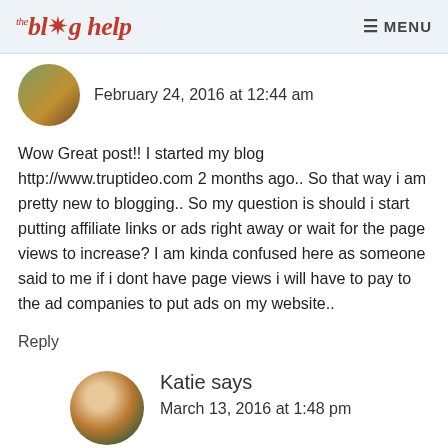the blog help | MENU
February 24, 2016 at 12:44 am
Wow Great post!! I started my blog http://www.truptideo.com 2 months ago.. So that way i am pretty new to blogging.. So my question is should i start putting affiliate links or ads right away or wait for the page views to increase? I am kinda confused here as someone said to me if i dont have page views i will have to pay to the ad companies to put ads on my website..
Reply
Katie says
March 13, 2016 at 1:48 pm